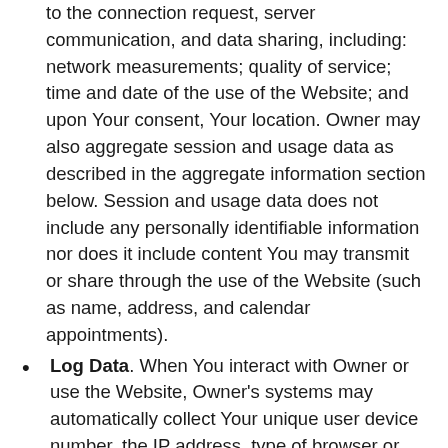to the connection request, server communication, and data sharing, including: network measurements; quality of service; time and date of the use of the Website; and upon Your consent, Your location. Owner may also aggregate session and usage data as described in the aggregate information section below. Session and usage data does not include any personally identifiable information nor does it include content You may transmit or share through the use of the Website (such as name, address, and calendar appointments).
Log Data. When You interact with Owner or use the Website, Owner's systems may automatically collect Your unique user device number, the IP address, type of browser or operating system You use, and the dates and times of Your use.
Aggregate Information. Aggregate information is data Owner collects about a group or category of services or users from which individual user identities have been